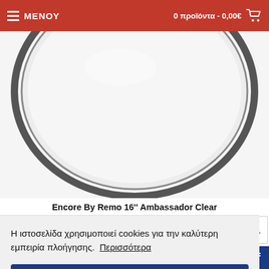ΜΕΝΟΥ | 0 προϊόντα - 0,00€
[Figure (photo): Circular drum head product photo — Encore By Remo 16'' Ambassador Clear, shown as a large clear circular ring/hoop on white background]
Encore By Remo 16'' Ambassador Clear
10,00€
ΚΑΛΑΘΙ
Η ιστοσελίδα χρησιμοποιεί cookies για την καλύτερη εμπειρία πλοήγησης. Περισσότερα
OK
f